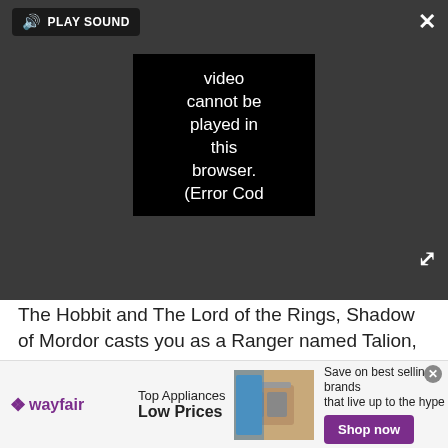[Figure (screenshot): Video player overlay on dark background showing 'PLAY SOUND' button, close X button, black video box with text 'Video cannot be played in this browser. (Error Cod', and expand icon]
The Hobbit and The Lord of the Rings, Shadow of Mordor casts you as a Ranger named Talion, imbued with wraithlike powers and eager to avenge his slain family. As Talion sneaks, fights and enchants his way through legions of orcs, the innovative Nemesis character system creates unique, procedurally generated warchiefs who remember Talion's behavior and their own past defeats. Along with great combat and a bold story, this makes Shadow of Mordor ideal for any Tolkien aficionado or action/adventure fan. - Marshall Honorof (@marshallhonorof)
[Figure (screenshot): Wayfair advertisement banner: wayfair logo, Top Appliances Low Prices text, appliance image, Save on best selling brands that live up to the hype, Shop now button]